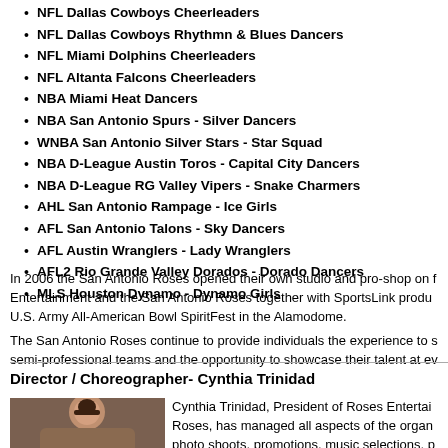NFL Dallas Cowboys Cheerleaders
NFL Dallas Cowboys Rhythmn & Blues Dancers
NFL Miami Dolphins Cheerleaders
NFL Altanta Falcons Cheerleaders
NBA Miami Heat Dancers
NBA San Antonio Spurs - Silver Dancers
WNBA San Antonio Silver Stars - Star Squad
NBA D-League Austin Toros - Capital City Dancers
NBA D-League RG Valley Vipers - Snake Charmers
AHL San Antonio Rampage - Ice Girls
AFL San Antonio Talons - Sky Dancers
AFL Austin Wranglers - Lady Wranglers
AFL2 Rio Grande Valley Dorados - Dorado Dancers
MLS Houston Dynamo - Dynamo Girls
In 2006 the San Antonio Roses opened their own studio and pro-shop on f... Entertainment and the San Antonio Roses together with SportsLink produ... U.S. Army All-American Bowl SpiritFest in the Alamodome.
The San Antonio Roses continue to provide individuals the experience to s... semi-professional teams and the opportunity to showcase their talent at ev...
Director / Choreographer- Cynthia Trinidad
[Figure (photo): Headshot photo of Cynthia Trinidad]
Cynthia Trinidad, President of Roses Entertai... Roses, has managed all aspects of the organ... photo shoots, promotions, music selections, p... choreographed numerous routines and halftim... Cynthia holds knowledge of different venues ... football, basketball, and baseball.